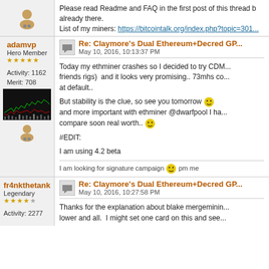[Figure (illustration): Forum user avatar icon (person silhouette with hardware icon below)]
Please read Readme and FAQ in the first post of this thread b... already there.
List of my miners: https://bitcointalk.org/index.php?topic=301...
adamvp
Hero Member
Activity: 1162
Merit: 708
Re: Claymore's Dual Ethereum+Decred GP...
May 10, 2016, 10:13:37 PM
Today my ethminer crashes so I decided to try CDM... friends rigs) and it looks very promising.. 73mhs co... at default..
But stability is the clue, so see you tomorrow 😊 and more important with ethminer @dwarfpool I ha... compare soon real worth.. 😊
#EDIT:
I am using 4.2 beta
I am looking for signature campaign 😊 pm me
fr4nkthetank
Legendary
Activity: 2277
Re: Claymore's Dual Ethereum+Decred GP...
May 10, 2016, 10:27:58 PM
Thanks for the explanation about blake mergeminin... lower and all. I might set one card on this and see...